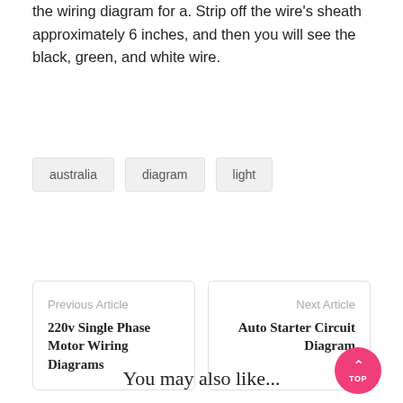the wiring diagram for a. Strip off the wire's sheath approximately 6 inches, and then you will see the black, green, and white wire.
australia
diagram
light
Previous Article
220v Single Phase Motor Wiring Diagrams
Next Article
Auto Starter Circuit Diagram
You may also like...